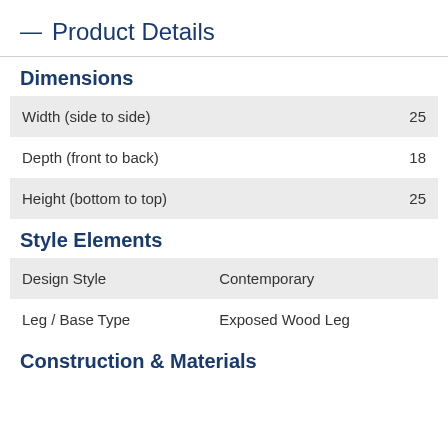— Product Details
Dimensions
|  |  |
| --- | --- |
| Width (side to side) | 25 |
| Depth (front to back) | 18 |
| Height (bottom to top) | 25 |
Style Elements
|  |  |
| --- | --- |
| Design Style | Contemporary |
| Leg / Base Type | Exposed Wood Leg |
Construction & Materials